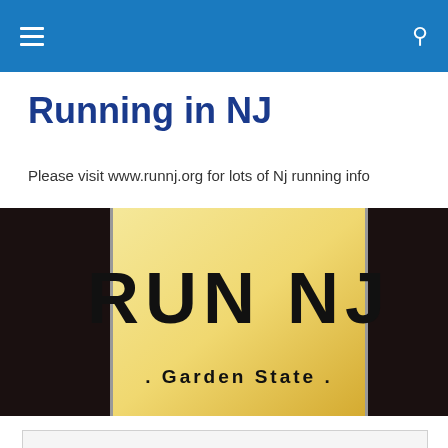Running in NJ — navigation header with hamburger menu and search icon
Running in NJ
Please visit www.runnj.org for lots of Nj running info
[Figure (photo): New Jersey license plate reading 'RUN NJ · Garden State ·' on a dark background]
Privacy & Cookies: This site uses cookies. By continuing to use this website, you agree to their use.
To find out more, including how to control cookies, see here: Cookie Policy
[Close and accept button]